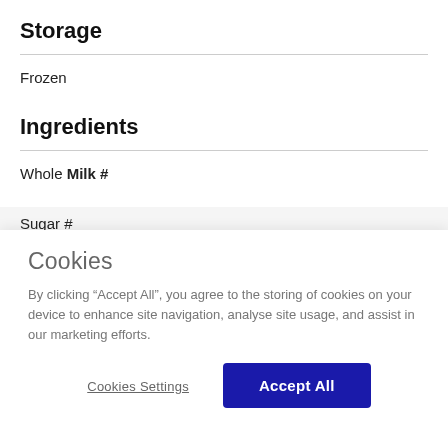Storage
Frozen
Ingredients
Whole Milk #
Sugar #
Cookies
By clicking “Accept All”, you agree to the storing of cookies on your device to enhance site navigation, analyse site usage, and assist in our marketing efforts.
Cookies Settings
Accept All